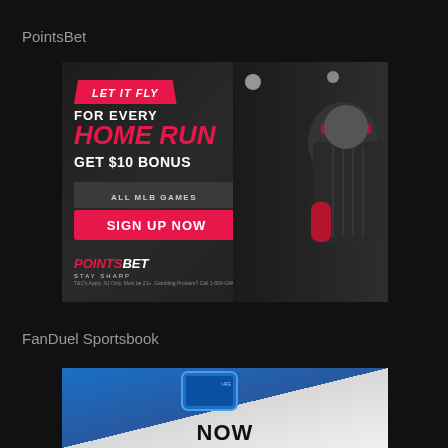PointsBet
[Figure (photo): PointsBet sports betting advertisement featuring a baseball player in a dark jersey with red headband. Text reads: LET IT FLY / FOR EVERY / HOME RUN / GET $10 BONUS / ALL MLB GAMES / SIGN UP NOW / POINTSBET STAY SHARP. Fine print: T&C's Apply. NJ Only. Must be 21+. Gambling Problem? Call 1-800-GAMBLER.]
FanDuel Sportsbook
[Figure (photo): FanDuel Sportsbook advertisement showing a mobile phone with blue app interface and the word NOW partially visible at bottom.]